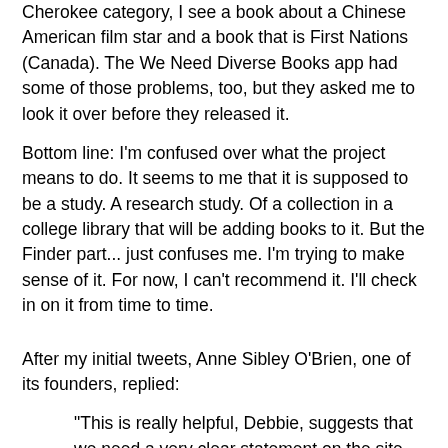Cherokee category, I see a book about a Chinese American film star and a book that is First Nations (Canada). The We Need Diverse Books app had some of those problems, too, but they asked me to look it over before they released it.
Bottom line: I'm confused over what the project means to do. It seems to me that it is supposed to be a study. A research study. Of a collection in a college library that will be adding books to it. But the Finder part... just confuses me. I'm trying to make sense of it. For now, I can't recommend it. I'll check in on it from time to time.
After my initial tweets, Anne Sibley O'Brien, one of its founders, replied:
"This is really helpful, Debbie, suggests that we need a very clear statement on the site that inclusion in the site =/= recommendation."
They added this statement to the top of the Search page:
Our intention is to acquire and make available